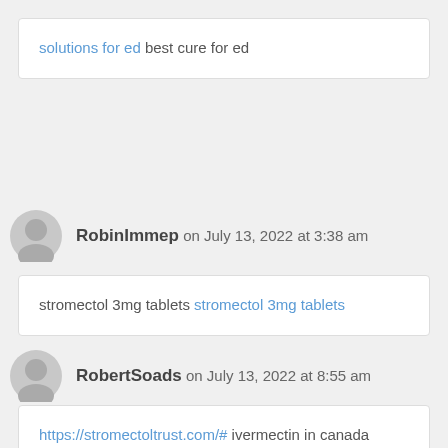solutions for ed best cure for ed
RobinImmep on July 13, 2022 at 3:38 am
stromectol 3mg tablets stromectol 3mg tablets
RobertSoads on July 13, 2022 at 8:55 am
https://stromectoltrust.com/# ivermectin in canada